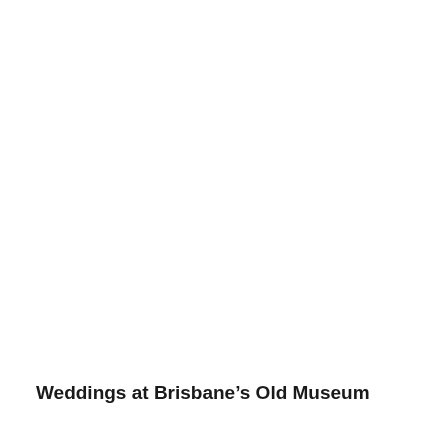Weddings at Brisbane’s Old Museum